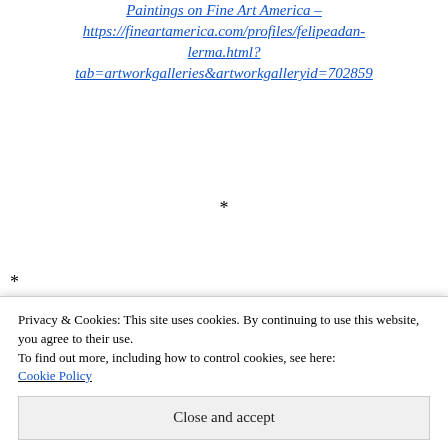Paintings on Fine Art America – https://fineartamerica.com/profiles/felipeadan-lerma.html?tab=artworkgalleries&artworkgalleryid=702859
*
*
Advertisements
[Figure (other): WooCommerce advertisement banner: purple background with WooCommerce logo and green arrow, white section with text 'How to start selling subscriptions online', orange and blue decorative shapes]
Privacy & Cookies: This site uses cookies. By continuing to use this website, you agree to their use.
To find out more, including how to control cookies, see here: Cookie Policy
Close and accept